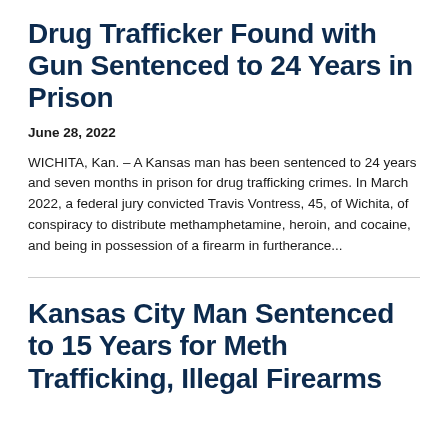Drug Trafficker Found with Gun Sentenced to 24 Years in Prison
June 28, 2022
WICHITA, Kan. – A Kansas man has been sentenced to 24 years and seven months in prison for drug trafficking crimes. In March 2022, a federal jury convicted Travis Vontress, 45, of Wichita, of conspiracy to distribute methamphetamine, heroin, and cocaine, and being in possession of a firearm in furtherance...
Kansas City Man Sentenced to 15 Years for Meth Trafficking, Illegal Firearms